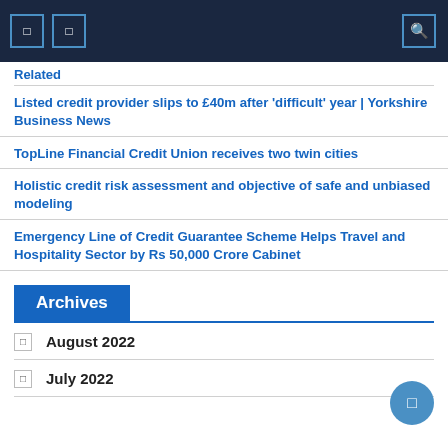Navigation bar with icons
Related
Listed credit provider slips to £40m after 'difficult' year | Yorkshire Business News
TopLine Financial Credit Union receives two twin cities
Holistic credit risk assessment and objective of safe and unbiased modeling
Emergency Line of Credit Guarantee Scheme Helps Travel and Hospitality Sector by Rs 50,000 Crore Cabinet
Archives
August 2022
July 2022